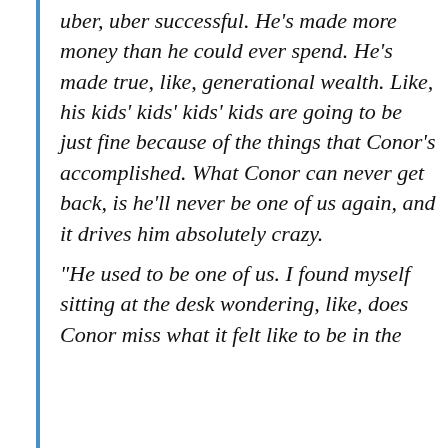uber, uber successful. He's made more money than he could ever spend. He's made true, like, generational wealth. Like, his kids' kids' kids' kids are going to be just fine because of the things that Conor's accomplished. What Conor can never get back, is he'll never be one of us again, and it drives him absolutely crazy.
“He used to be one of us. I found myself sitting at the desk wondering, like, does Conor miss what it felt like to be in the